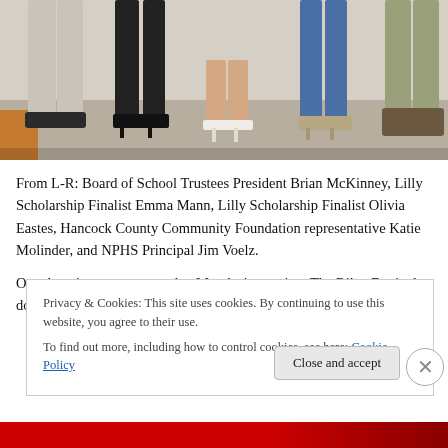[Figure (photo): Cropped photo showing the lower bodies and feet of five people standing side by side on a carpeted floor.]
From L-R: Board of School Trustees President Brian McKinney, Lilly Scholarship Finalist Emma Mann, Lilly Scholarship Finalist Olivia Eastes, Hancock County Community Foundation representative Katie Molinder, and NPHS Principal Jim Voelz.
One donation was approved at Monday's meeting. The Riley Festival donated $450 to NPHS art teacher Clyde
Privacy & Cookies: This site uses cookies. By continuing to use this website, you agree to their use.
To find out more, including how to control cookies, see here: Cookie Policy